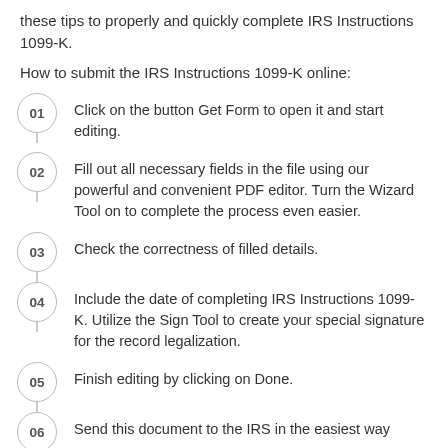these tips to properly and quickly complete IRS Instructions 1099-K.
How to submit the IRS Instructions 1099-K online:
01 Click on the button Get Form to open it and start editing.
02 Fill out all necessary fields in the file using our powerful and convenient PDF editor. Turn the Wizard Tool on to complete the process even easier.
03 Check the correctness of filled details.
04 Include the date of completing IRS Instructions 1099-K. Utilize the Sign Tool to create your special signature for the record legalization.
05 Finish editing by clicking on Done.
06 Send this document to the IRS in the easiest way